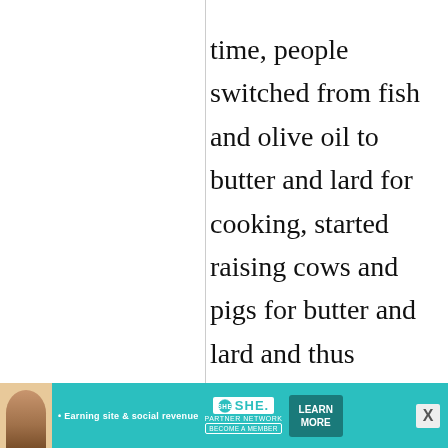time, people switched from fish and olive oil to butter and lard for cooking, started raising cows and pigs for butter and lard and thus stopped hunting as much as they used to, and egg-based dishes gradually
[Figure (infographic): Advertisement banner for SHE Media Partner Network. Teal background with woman's photo, text 'Earning site & social revenue', SHE logo, 'PARTNER NETWORK', 'BECOME A MEMBER', and 'LEARN MORE' button.]